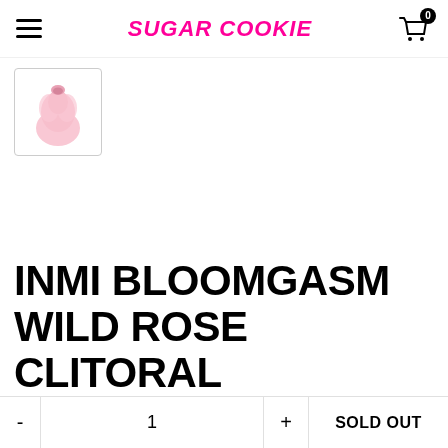SUGAR COOKIE
[Figure (photo): Small thumbnail of a pink rose-shaped clitoral stimulator product in a bordered box]
INMI BLOOMGASM WILD ROSE CLITORAL STIMULATOR
- 1 + SOLD OUT